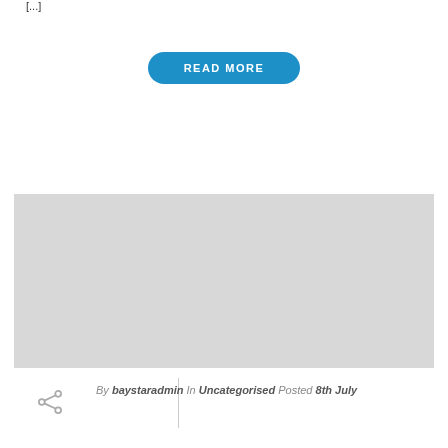[...]
READ MORE
[Figure (other): Gray placeholder image block]
By baystaradmin In Uncategorised Posted 8th July